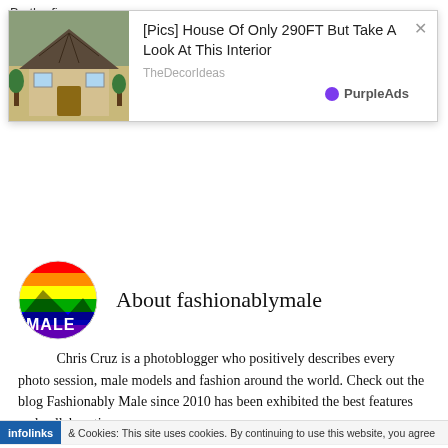Be the first to like this
Categories Tags 2023
[Figure (screenshot): Advertisement popup: house photo with text '[Pics] House Of Only 290FT But Take A Look At This Interior' from TheDecorIdeas, PurpleAds branding]
About fashionablymale
[Figure (logo): Circular avatar logo with colorful rainbow colors and MALE text]
Chris Cruz is a photoblogger who positively describes every photo session, male models and fashion around the world. Check out the blog Fashionably Male since 2010 has been exhibited the best features and collaborations.
infolinks & Cookies: This site uses cookies. By continuing to use this website, you agree
[Figure (screenshot): Wayfair advertisement: Top Appliances Low Prices, Save on best selling brands that live up to the hype, Shop now button]